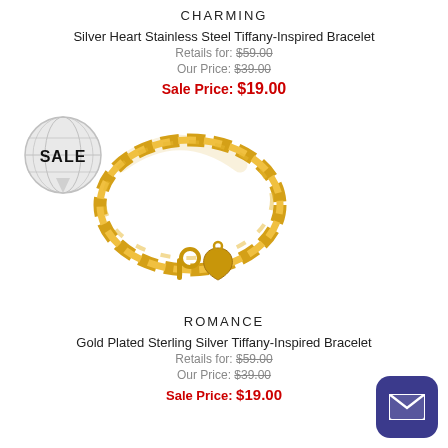CHARMING
Silver Heart Stainless Steel Tiffany-Inspired Bracelet
Retails for: $59.00
Our Price: $39.00
Sale Price: $19.00
[Figure (photo): Gold chain bracelet with heart charm and toggle clasp, on white background. A globe/world SALE badge overlay on the left.]
ROMANCE
Gold Plated Sterling Silver Tiffany-Inspired Bracelet
Retails for: $59.00
Our Price: $39.00
Sale Price: $19.00